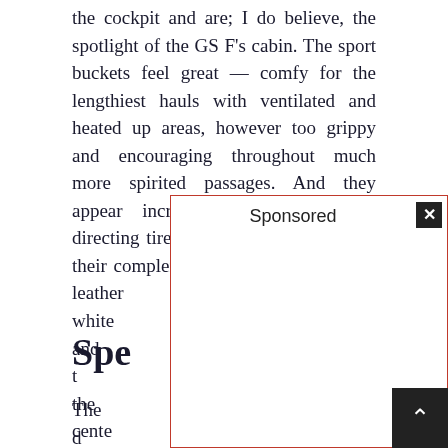the cockpit and are; I do believe, the spotlight of the GS F's cabin. The sport buckets feel great — comfy for the lengthiest hauls with ventilated and heated up areas, however too grippy and encouraging throughout much more spirited passages. And they appear incredible along with the directing tire and change handle, using their complementing perforated natural leather and white [obscured by ad] wing, and t[obscured] n the cente[obscured]
Spe[cifications]
The d[obscured] your simpl[obscured] in adv[obscured] ed in powe[ring the enormous Lexus grille, you'll locate]
[Figure (other): Sponsored advertisement overlay with red border, 'Sponsored' label at top center, and close (X) button at top right. White content area below.]